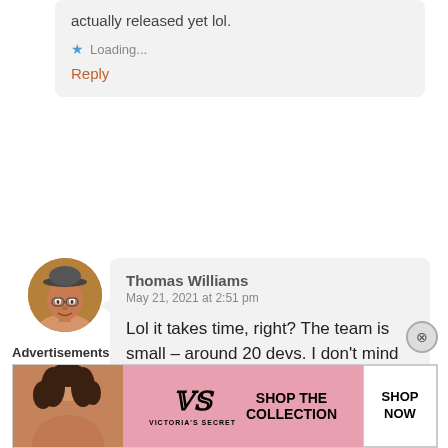actually released yet lol.
Loading...
Reply
[Figure (photo): User avatar photo of Thomas Williams, a man wearing a cap]
Thomas Williams
May 21, 2021 at 2:51 pm
Lol it takes time, right? The team is small – around 20 devs. I don't mind giving them a pass.
Loading...
Reply
Advertisements
[Figure (photo): Victoria's Secret advertisement banner with a woman's photo, VS logo, 'SHOP THE COLLECTION' text, and a 'SHOP NOW' button]